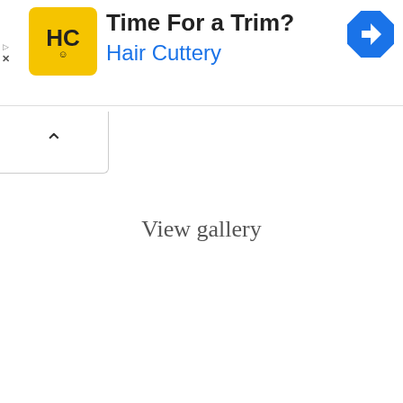[Figure (screenshot): Advertisement banner for Hair Cuttery. Yellow logo with 'HC' text and smiley face, headline 'Time For a Trim?' in bold black, 'Hair Cuttery' in blue text, blue diamond navigation icon on right. Small play and close icons on left edge.]
[Figure (other): Collapse/chevron up button below the ad banner, left-aligned white box with upward caret symbol.]
View gallery